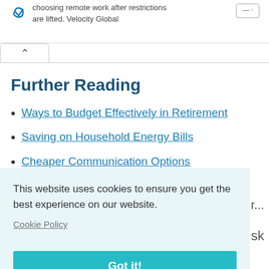choosing remote work after restrictions are lifted. Velocity Global
Further Reading
Ways to Budget Effectively in Retirement
Saving on Household Energy Bills
Cheaper Communication Options
Eating Well for Less
This website uses cookies to ensure you get the best experience on our website.
Cookie Policy
Got it!